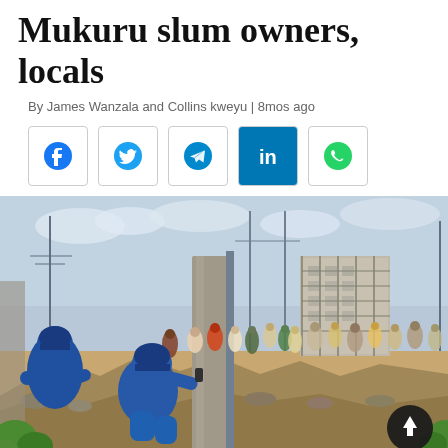Mukuru slum owners, locals
By James Wanzala and Collins kweyu | 8mos ago
[Figure (other): Social media sharing buttons: Facebook, Twitter, Telegram, LinkedIn, WhatsApp]
[Figure (photo): Police officers in blue uniforms and helmets crouching behind a concrete pillar amid rubble and debris, with a crowd of people in the background and a building under construction visible, in what appears to be the Mukuru slum area.]